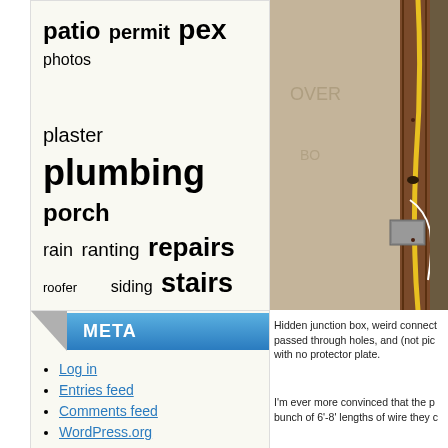[Figure (other): Tag cloud widget showing home improvement related terms in varying font sizes including patio, permit, pex, photos, plaster, plumbing, porch, rain, ranting, repairs, roofer, siding, stairs, thinset, tile, tongue and groove boards, treehouse, underwriter, wiring, Yard]
META
Log in
Entries feed
Comments feed
WordPress.org
[Figure (photo): Construction photo showing hidden junction box, wiring passed through holes in wooden stud, yellow wire visible, concrete/plaster wall background]
Hidden junction box, weird connect passed through holes, and (not pic with no protector plate.
I'm ever more convinced that the p bunch of 6'-8' lengths of wire they c